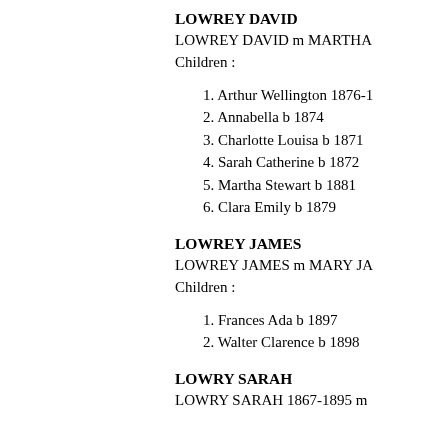LOWREY DAVID
LOWREY DAVID m MARTHA
Children :
1. Arthur Wellington 1876-1
2. Annabella b 1874
3. Charlotte Louisa b 1871
4. Sarah Catherine b 1872
5. Martha Stewart b 1881
6. Clara Emily b 1879
LOWREY JAMES
LOWREY JAMES m MARY JA
Children :
1. Frances Ada b 1897
2. Walter Clarence b 1898
LOWRY SARAH
LOWRY SARAH 1867-1895 m
Therefore Mi...